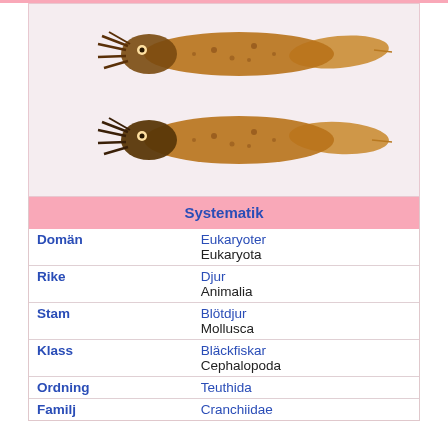[Figure (photo): Two squid viewed from above, shown dorsally, brown/orange coloring with spotted pattern and elongated bodies with fins, one above the other.]
|  |  |
| --- | --- |
| Systematik |  |
| Domän | Eukaryoter
Eukaryota |
| Rike | Djur
Animalia |
| Stam | Blötdjur
Mollusca |
| Klass | Bläckfiskar
Cephalopoda |
| Ordning | Teuthida |
| Familj | Cranchiidae |